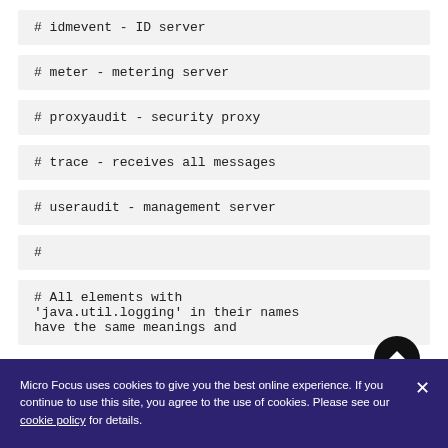# idmevent - ID server
# meter - metering server
# proxyaudit - security proxy
# trace - receives all messages
# useraudit - management server
#
# All elements with 'java.util.logging' in their names have the same meanings and
Micro Focus uses cookies to give you the best online experience. If you continue to use this site, you agree to the use of cookies. Please see our cookie policy for details.